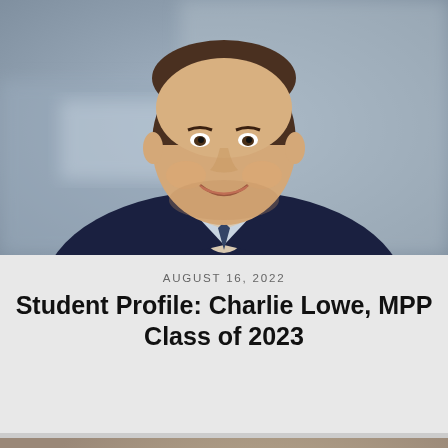[Figure (photo): Headshot of a smiling young man in a dark navy suit jacket with light blue shirt, blurred blue-gray background, professional photo]
AUGUST 16, 2022
Student Profile: Charlie Lowe, MPP Class of 2023
[Figure (photo): Close-up portrait of a young man in a dark blue suit, serious expression, outdoor setting with brick building and greenery in soft-focus background]